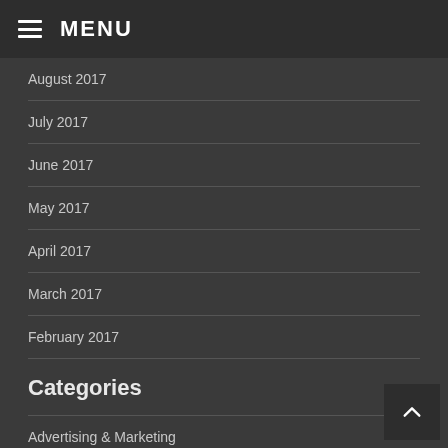MENU
August 2017
July 2017
June 2017
May 2017
April 2017
March 2017
February 2017
Categories
Advertising & Marketing